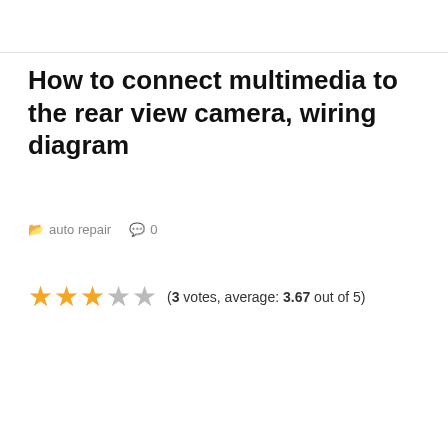How to connect multimedia to the rear view camera, wiring diagram
auto repair   0
(3 votes, average: 3.67 out of 5)